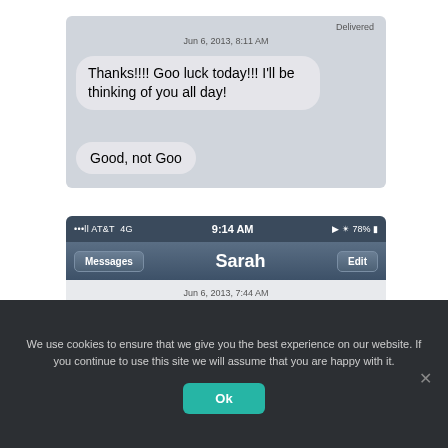[Figure (screenshot): iPhone iMessage screenshot showing autocorrect: 'Thanks!!!! Goo luck today!!! I'll be thinking of you all day!' with correction bubble 'Good, not Goo'. Timestamp: Jun 6, 2013, 8:11 AM. Marked Delivered.]
[Figure (screenshot): iPhone SMS screenshot with iOS status bar (AT&T 4G, 9:14 AM, 78%), navigation bar showing Messages and Sarah, timestamp Jun 6, 2013, 7:44 AM, and message bubble beginning 'There's really nothing I can say that I haven't said']
We use cookies to ensure that we give you the best experience on our website. If you continue to use this site we will assume that you are happy with it.
Ok